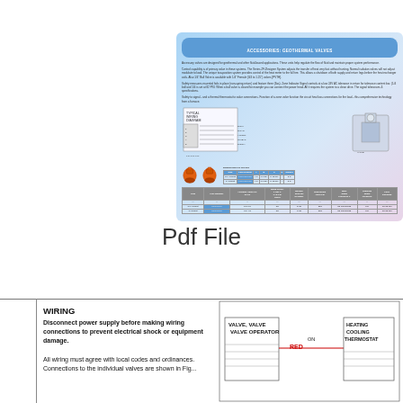[Figure (illustration): B&D Info Inc. catalog page thumbnail showing accessories/geothermal valves product page with diagrams, tables, valve photos, and company contact information (1-888-046-6724, 712-552-5624)]
Pdf File
WIRING
Disconnect power supply before making wiring connections to prevent electrical shock or equipment damage.

All wiring must agree with local codes and ordinances. Connections to the individual valves are shown in Fig...
[Figure (engineering-diagram): Wiring diagram showing valve/valve operator connected to heating/cooling thermostat with RED wire connection]